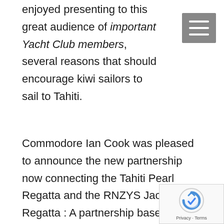enjoyed presenting to this great audience of important Yacht Club members, several reasons that should encourage kiwi sailors to sail to Tahiti.
Commodore Ian Cook was pleased to announce the new partnership now connecting the Tahiti Pearl Regatta and the RNZYS Jack Tar Regatta : A partnership based on winning crew exchanges between those 2 races in the South Pacific ocean, as well as a technical support of RNZYS race officers to the Tahiti Pearl Regatta race committee.
This tahitian event in the heart of the sailing world in Auckland -the city of sails- was also the perfect moment to announce the official launch of the